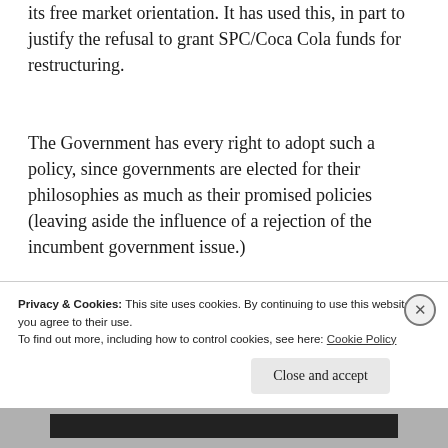its free market orientation. It has used this, in part to justify the refusal to grant SPC/Coca Cola funds for restructuring.
The Government has every right to adopt such a policy, since governments are elected for their philosophies as much as their promised policies (leaving aside the influence of a rejection of the incumbent government issue.)
Let's, for the sake of this discussion
Privacy & Cookies: This site uses cookies. By continuing to use this website, you agree to their use.
To find out more, including how to control cookies, see here: Cookie Policy